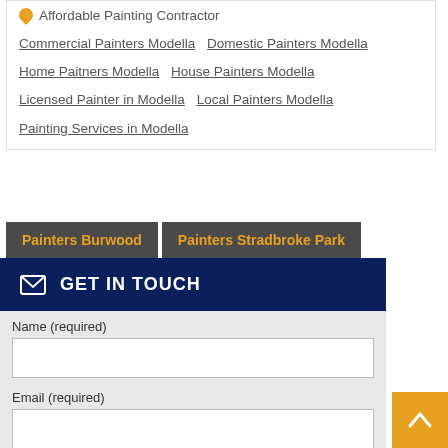Affordable Painting Contractor
Commercial Painters Modella   Domestic Painters Modella
Home Paitners Modella   House Painters Modella
Licensed Painter in Modella   Local Painters Modella
Painting Services in Modella
Painters Burwood
Painters Stradbroke Park
GET IN TOUCH
Name (required)
Email (required)
Location (required)